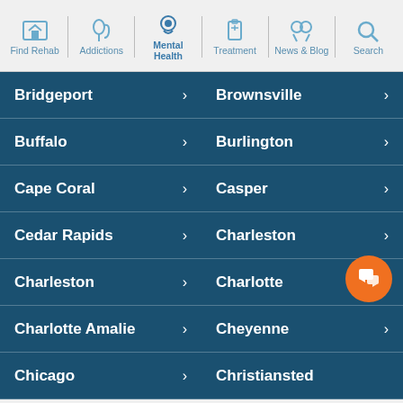Find Rehab | Addictions | Mental Health | Treatment | News & Blog | Search
Bridgeport
Brownsville
Buffalo
Burlington
Cape Coral
Casper
Cedar Rapids
Charleston
Charleston
Charlotte
Charlotte Amalie
Cheyenne
Chicago
Christiansted
Call (870) 515-4894
Confidentially speak with a treatment provider